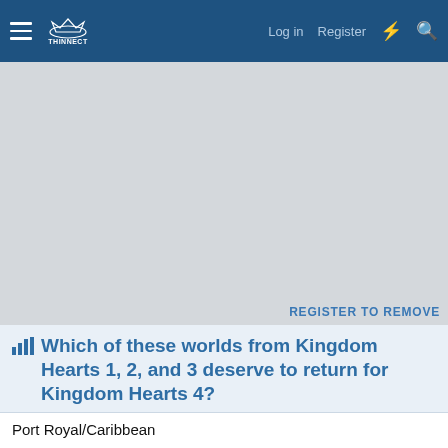Log in  Register
[Figure (screenshot): Gray advertisement placeholder area with 'REGISTER TO REMOVE' link at bottom right]
Which of these worlds from Kingdom Hearts 1, 2, and 3 deserve to return for Kingdom Hearts 4?
Port Royal/Caribbean